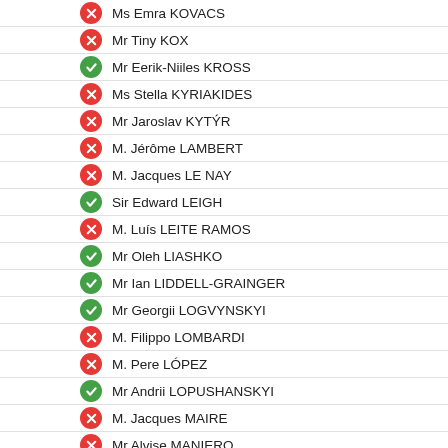Ms Emra KOVACS
Mr Tiny KOX
Mr Eerik-Niiles KROSS
Ms Stella KYRIAKIDES
Mr Jaroslav KYTÝR
M. Jérôme LAMBERT
M. Jacques LE NAY
Sir Edward LEIGH
M. Luís LEITE RAMOS
Mr Oleh LIASHKO
Mr Ian LIDDELL-GRAINGER
Mr Georgii LOGVYNSKYI
M. Filippo LOMBARDI
M. Pere LÓPEZ
Mr Andrii LOPUSHANSKYI
M. Jacques MAIRE
Mr Alvise MANIERO